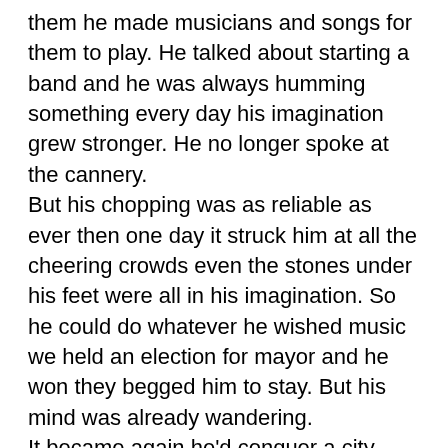them he made musicians and songs for them to play. He talked about starting a band and he was always humming something every day his imagination grew stronger. He no longer spoke at the cannery. But his chopping was as reliable as ever then one day it struck him at all the cheering crowds even the stones under his feet were all in his imagination. So he could do whatever he wished music we held an election for mayor and he won they begged him to stay. But his mind was already wandering. It became again he'd conquer a city then immediately push on you louisville st. Louis we started drifting away from our reality music minneapolis until one day he forgot to go home from the cannery even as his mother pleaded with him part of lewis kept sailing on in louisburg. He heard rumors over hunson queen music the queen was on her own quest for music. Radiantly. Loads music. He followed the sound of her